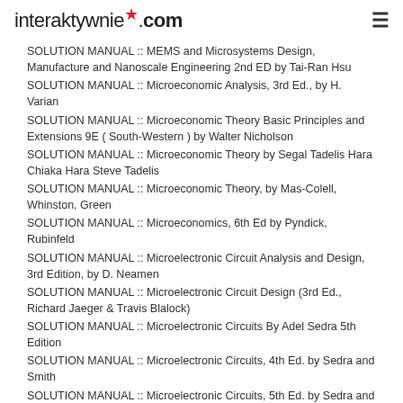interaktywnie.com
SOLUTION MANUAL :: MEMS and Microsystems Design, Manufacture and Nanoscale Engineering 2nd ED by Tai-Ran Hsu
SOLUTION MANUAL :: Microeconomic Analysis, 3rd Ed., by H. Varian
SOLUTION MANUAL :: Microeconomic Theory Basic Principles and Extensions 9E ( South-Western ) by Walter Nicholson
SOLUTION MANUAL :: Microeconomic Theory by Segal Tadelis Hara Chiaka Hara Steve Tadelis
SOLUTION MANUAL :: Microeconomic Theory, by Mas-Colell, Whinston, Green
SOLUTION MANUAL :: Microeconomics, 6th Ed by Pyndick, Rubinfeld
SOLUTION MANUAL :: Microelectronic Circuit Analysis and Design, 3rd Edition, by D. Neamen
SOLUTION MANUAL :: Microelectronic Circuit Design (3rd Ed., Richard Jaeger & Travis Blalock)
SOLUTION MANUAL :: Microelectronic Circuits By Adel Sedra 5th Edition
SOLUTION MANUAL :: Microelectronic Circuits, 4th Ed. by Sedra and Smith
SOLUTION MANUAL :: Microelectronic Circuits, 5th Ed. by Sedra and Smith
SOLUTION MANUAL :: Microelectronics Digital and Analog Circuits and